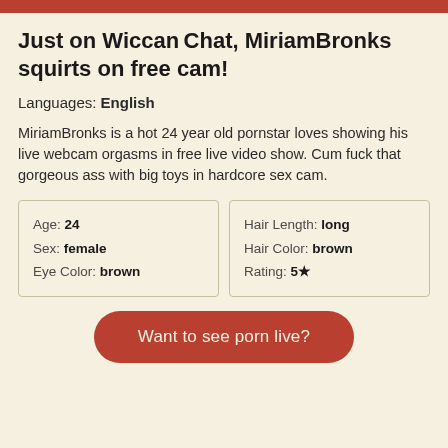Just on Wiccan Chat, MiriamBronks squirts on free cam!
Languages: English
MiriamBronks is a hot 24 year old pornstar loves showing his live webcam orgasms in free live video show. Cum fuck that gorgeous ass with big toys in hardcore sex cam.
| Age: 24 | Hair Length: long |
| Sex: female | Hair Color: brown |
| Eye Color: brown | Rating: 5★ |
Want to see porn live?